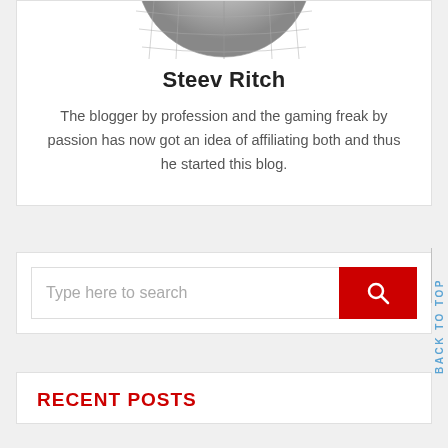[Figure (photo): Bottom portion of a globe/sphere graphic (grayscale) cropped at top]
Steev Ritch
The blogger by profession and the gaming freak by passion has now got an idea of affiliating both and thus he started this blog.
[Figure (other): Search bar with text input 'Type here to search' and red search button with magnifying glass icon]
RECENT POSTS